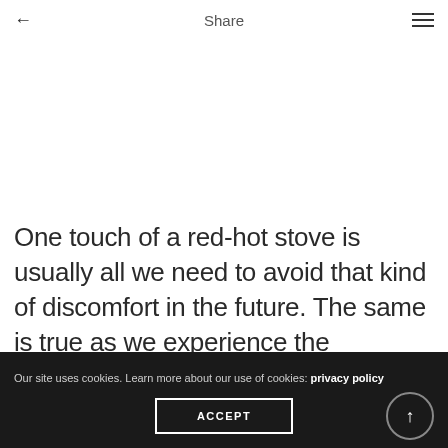← Share ≡
One touch of a red-hot stove is usually all we need to avoid that kind of discomfort in the future. The same is true as we experience the emotional sensation of stress from our first
Our site uses cookies. Learn more about our use of cookies: privacy policy
ACCEPT